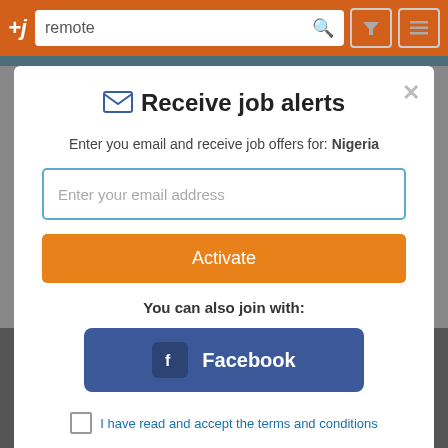[Figure (screenshot): Job search website top bar with orange background, +j logo, search field showing 'remote', search icon, filter icon, and menu icon]
Receive job alerts
Enter you email and receive job offers for: Nigeria
Enter your email address
Activate
You can also join with:
Facebook
I have read and accept the terms and conditions
I agree